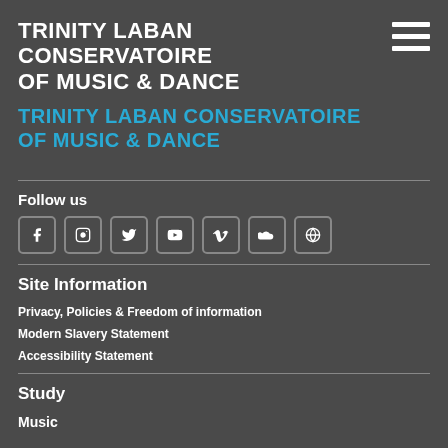TRINITY LABAN CONSERVATOIRE OF MUSIC & DANCE
TRINITY LABAN CONSERVATOIRE OF MUSIC & DANCE
Follow us
[Figure (infographic): Row of 7 social media icon buttons: Facebook, Instagram, Twitter, YouTube, Vimeo, SoundCloud, WordPress]
Site Information
Privacy, Policies & Freedom of information
Modern Slavery Statement
Accessibility Statement
Study
Music